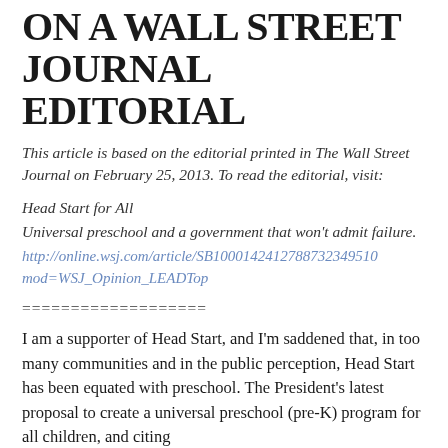ON A WALL STREET JOURNAL EDITORIAL
This article is based on the editorial printed in The Wall Street Journal on February 25, 2013.  To read the editorial, visit:
Head Start for All
Universal preschool and a government that won't admit failure.
http://online.wsj.com/article/SB10001424127887323495100 mod=WSJ_Opinion_LEADTop
===================
I am a supporter of Head Start, and I'm saddened that, in too many communities and in the public perception, Head Start has been equated with preschool.  The President's latest proposal to create a universal preschool (pre-K) program for all children, and citing